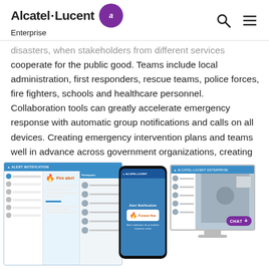Alcatel·Lucent Enterprise
disasters, when stakeholders from different services cooperate for the public good. Teams include local administration, first responders, rescue teams, police forces, fire fighters, schools and healthcare personnel. Collaboration tools can greatly accelerate emergency response with automatic group notifications and calls on all devices. Creating emergency intervention plans and teams well in advance across government organizations, creating digital collaboration spaces and defining notification rules across the public teams and the community can give IT managers an excellent precedent of a best practice in silo-breaking.
[Figure (screenshot): Screenshot mockups of Alcatel-Lucent Enterprise collaboration tools showing alert notification interface on desktop/tablet, mobile phone with Fire alert notification, and video chat interface on desktop monitor with CHAT button.]